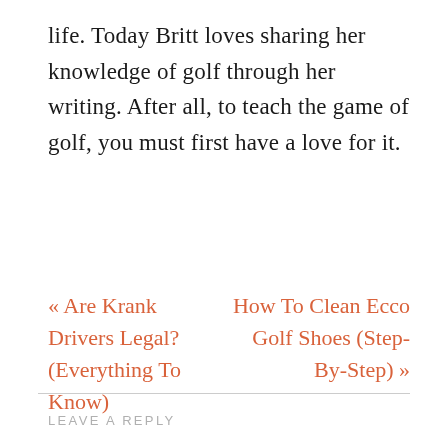life. Today Britt loves sharing her knowledge of golf through her writing. After all, to teach the game of golf, you must first have a love for it.
« Are Krank Drivers Legal? (Everything To Know)
How To Clean Ecco Golf Shoes (Step-By-Step) »
LEAVE A REPLY